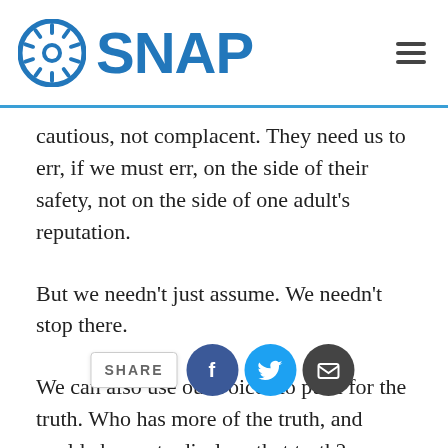SNAP
cautious, not complacent. They need us to err, if we must err, on the side of their safety, not on the side of one adult's reputation.
But we needn't just assume. We needn't stop there.
We can also use our voices to push for the truth. Who has more of the truth, and could choose to disclose that truth? Bishop Zubik.
And when do bishops reveal the truth about clergy sex abuse and misconduct accusations? When they're urged to do so by police, prosecutors, parishioners and the public.
That's what we want parishioners to do and Pittsburgh Catholics to do – lean on Bishop Zubik to be